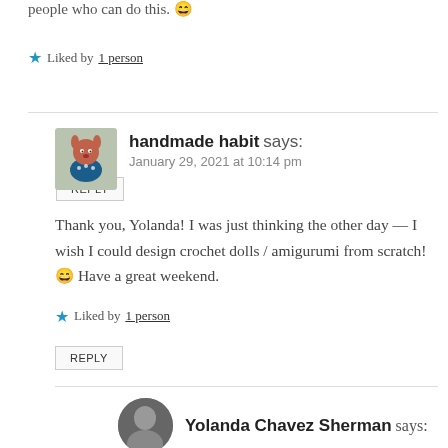people who can do this. 😄
★ Liked by 1 person
REPLY
handmade habit says:
January 29, 2021 at 10:14 pm
Thank you, Yolanda! I was just thinking the other day — I wish I could design crochet dolls / amigurumi from scratch! 😄 Have a great weekend.
★ Liked by 1 person
REPLY
Yolanda Chavez Sherman says: